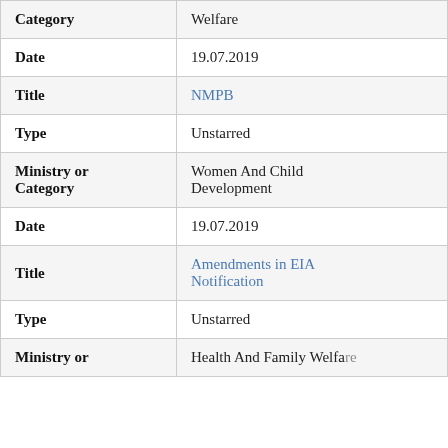| Field | Value |
| --- | --- |
| Category | Welfare |
| Date | 19.07.2019 |
| Title | NMPB |
| Type | Unstarred |
| Ministry or Category | Women And Child Development |
| Date | 19.07.2019 |
| Title | Amendments in EIA Notification |
| Type | Unstarred |
| Ministry or | Health And Family Welfare |